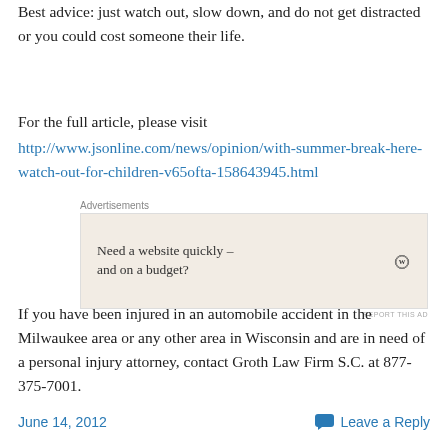Best advice: just watch out, slow down, and do not get distracted or you could cost someone their life.
For the full article, please visit
http://www.jsonline.com/news/opinion/with-summer-break-here-watch-out-for-children-v65ofta-158643945.html
[Figure (other): Advertisement banner: 'Need a website quickly – and on a budget?' with WordPress logo, labeled 'Advertisements']
If you have been injured in an automobile accident in the Milwaukee area or any other area in Wisconsin and are in need of a personal injury attorney, contact Groth Law Firm S.C. at 877-375-7001.
June 14, 2012   Leave a Reply